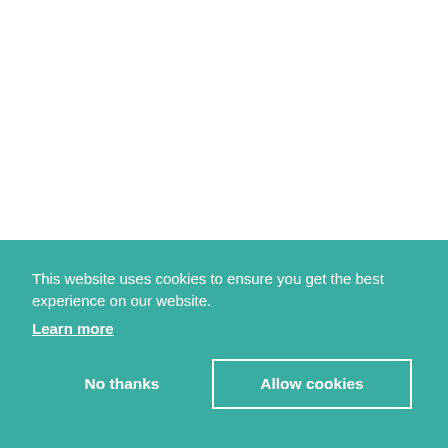This website uses cookies to ensure you get the best experience on our website.
Learn more
No thanks
Allow cookies